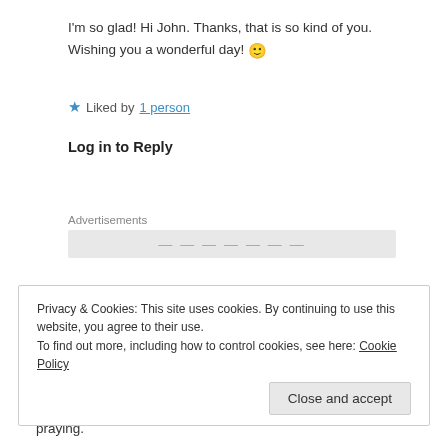I'm so glad! Hi John. Thanks, that is so kind of you. Wishing you a wonderful day! 🙂
★ Liked by 1 person
Log in to Reply
Advertisements
bookreviews1966 says:
November 5, 2014 at 4:01 pm
Privacy & Cookies: This site uses cookies. By continuing to use this website, you agree to their use.
To find out more, including how to control cookies, see here: Cookie Policy
Close and accept
praying.